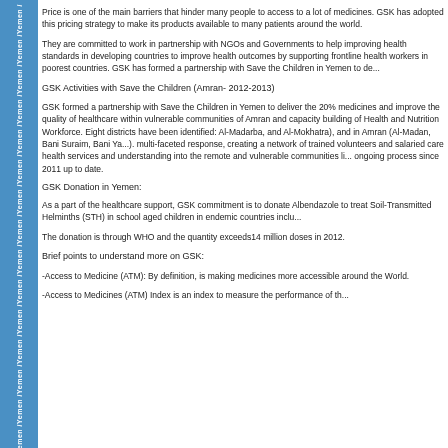Price is one of the main barriers that hinder many people to access to a lot of medicines. GSK has adopted this pricing strategy to make its products available to many patients around the world.
They are committed to work in partnership with NGOs and Governments to help improving health standards in developing countries to improve health outcomes by supporting frontline health workers in poorest countries. GSK has formed a partnership with Save the Children in Yemen to de...
GSK Activities with Save the Children (Amran- 2012-2013)
GSK formed a partnership with Save the Children in Yemen to deliver the 20% medicines and improve the quality of healthcare within vulnerable communities of Amran and capacity building of Health and Nutrition Workforce. Eight districts have been identified: Al-Madarba, and Al-Mokhatra), and in Amran (Al-Madan, Bani Suraim, Bani Ya...). multi-faceted response, creating a network of trained volunteers and salaried care health services and understanding into the remote and vulnerable communities li... ongoing process since 2011 up to date.
GSK Donation in Yemen:
As a part of the healthcare support, GSK commitment is to donate Albendazole to treat Soil-Transmitted Helminths (STH) in school aged children in endemic countries inclu...
The donation is through WHO and the quantity exceeds14 million doses in 2012.
Brief points to understand more on GSK:
-Access to Medicine (ATM): By definition, is making medicines more accessible around the World.
-Access to Medicines (ATM) Index is an index to measure the performance of th...